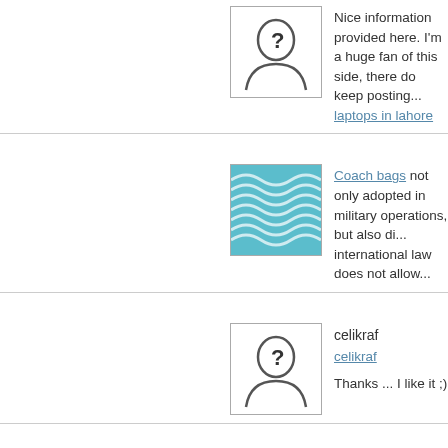[Figure (illustration): Anonymous user avatar with question mark silhouette]
Nice information provided here. I'm a huge fan of this side, there do keep posting...
laptops in lahore
[Figure (illustration): Teal wavy pattern image, avatar for Coach bags commenter]
Coach bags not only adopted in military operations, but also di... international law does not allow...
[Figure (illustration): Anonymous user avatar with question mark silhouette]
celikraf
celikraf
Thanks ... I like it ;)
[Figure (illustration): Anonymous user avatar with question mark silhouette]
Raf
raf